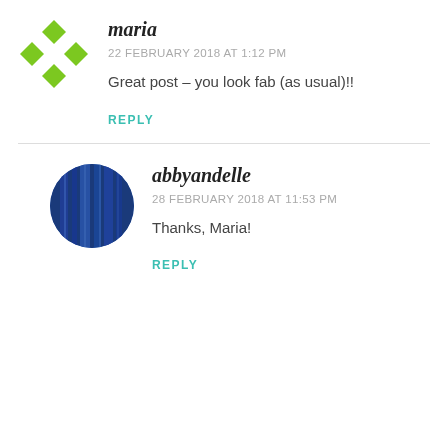[Figure (logo): Green diamond/cross logo avatar for user maria]
maria
22 FEBRUARY 2018 AT 1:12 PM
Great post – you look fab (as usual)!!
REPLY
[Figure (photo): Circular avatar photo showing blue curtains/fabric for user abbyandelle]
abbyandelle
28 FEBRUARY 2018 AT 11:53 PM
Thanks, Maria!
REPLY